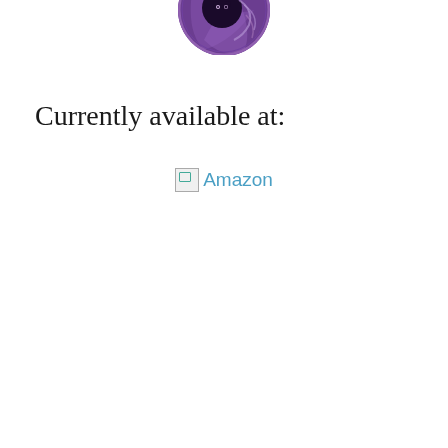[Figure (logo): Circular purple logo with a dark cat/ghost character and swirling purple background, partially visible at top of page]
Currently available at:
[Figure (other): Broken image icon followed by 'Amazon' text link in blue/teal color]